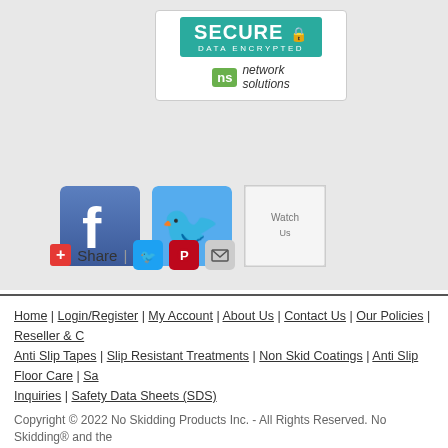[Figure (logo): Network Solutions Secure / Data Encrypted badge with teal background and lock icon]
[Figure (logo): Social media icons: Facebook, Twitter, Watch Us (YouTube placeholder)]
[Figure (infographic): Share bar with red plus/Share button, Twitter, Pinterest, and email icons]
Home | Login/Register | My Account | About Us | Contact Us | Our Policies | Reseller & C... Anti Slip Tapes | Slip Resistant Treatments | Non Skid Coatings | Anti Slip Floor Care | Sa... Inquiries | Safety Data Sheets (SDS)
Copyright © 2022 No Skidding Products Inc. - All Rights Reserved. No Skidding® and the content is protected by copyright. This site uses cookies. By continuing to browse the sit...
[Figure (logo): Payment method logos: Visa, MasterCard, Discover, AMEX, PayPal]
We accept Visa, Master Card, Discover, Amex, and PayPal.